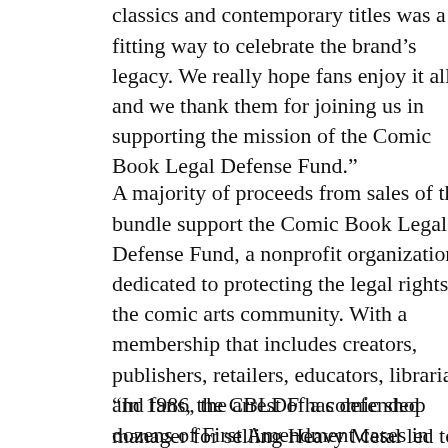classics and contemporary titles was a fitting way to celebrate the brand’s legacy. We really hope fans enjoy it all, and we thank them for joining us in supporting the mission of the Comic Book Legal Defense Fund.”
A majority of proceeds from sales of the bundle support the Comic Book Legal Defense Fund, a nonprofit organization dedicated to protecting the legal rights of the comic arts community. With a membership that includes creators, publishers, retailers, educators, librarians, and fans, the CBLDF has defended dozens of First Amendment cases in courts across the United States and led important educational initiatives promoting comics literacy and free expression.
“In 1986, the arrest of a comic shop manager for selling Heavy Metal led to the founding of the Comic